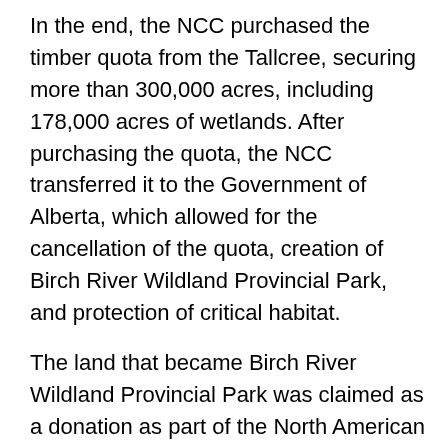In the end, the NCC purchased the timber quota from the Tallcree, securing more than 300,000 acres, including 178,000 acres of wetlands. After purchasing the quota, the NCC transferred it to the Government of Alberta, which allowed for the cancellation of the quota, creation of Birch River Wildland Provincial Park, and protection of critical habitat.
The land that became Birch River Wildland Provincial Park was claimed as a donation as part of the North American Wetland Conservation Act (NAWCA) because of the contribution to wetland conservation. NAWCA has supported wetland habitat conservation projects across North America since 1989. Over the past 30 years, NAWCA has grown into one of the most significant conservation programs in history. More than 3,000 NAWCA-funded projects have conserved 30 million acres of wetlands and related habitats. The projects span nearly every state, territory, and province in Canada, the U.S., and Mexico. The goal of the multi-billion dollar grant program is to